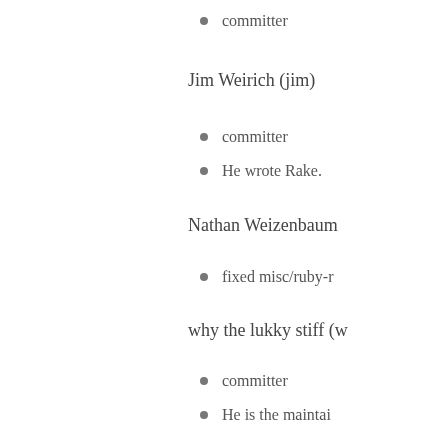committer
Jim Weirich (jim)
committer
He wrote Rake.
Nathan Weizenbaum
fixed misc/ruby-r
why the lukky stiff (w
committer
He is the maintai
Caley Woods
documentation